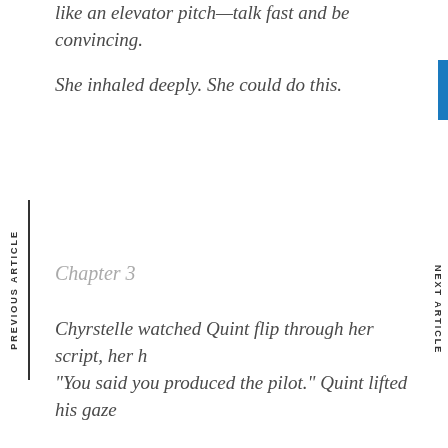like an elevator pitch—talk fast and be convincing.
She inhaled deeply. She could do this.
Chapter 3
Chyrstelle watched Quint flip through her script, her h
“You said you produced the pilot.” Quint lifted his gaze
PREVIOUS ARTICLE
NEXT ARTICLE